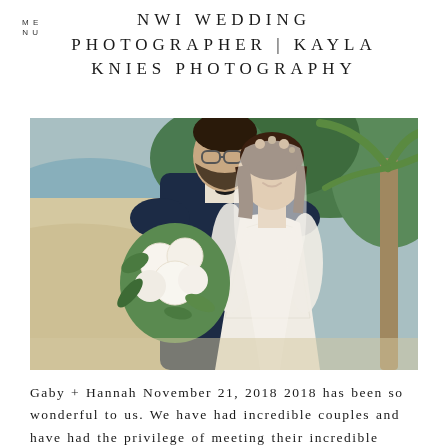NWI WEDDING PHOTOGRAPHER | KAYLA KNIES PHOTOGRAPHY
[Figure (photo): Wedding couple embracing outdoors near a beach with palm trees. The groom in a dark navy suit with glasses and beard is kissing the bride's head. The bride wears a lace long-sleeve wedding gown, a floral hair piece, and veil, holding a large white and green bouquet.]
Gaby + Hannah November 21, 2018 2018 has been so wonderful to us. We have had incredible couples and have had the privilege of meeting their incredible family and